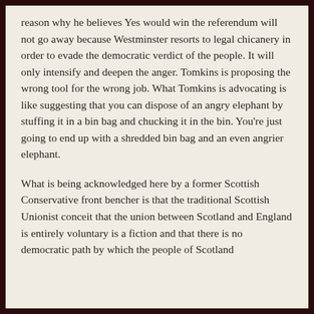reason why he believes Yes would win the referendum will not go away because Westminster resorts to legal chicanery in order to evade the democratic verdict of the people. It will only intensify and deepen the anger. Tomkins is proposing the wrong tool for the wrong job. What Tomkins is advocating is like suggesting that you can dispose of an angry elephant by stuffing it in a bin bag and chucking it in the bin. You're just going to end up with a shredded bin bag and an even angrier elephant.
What is being acknowledged here by a former Scottish Conservative front bencher is that the traditional Scottish Unionist conceit that the union between Scotland and England is entirely voluntary is a fiction and that there is no democratic path by which the people of Scotland